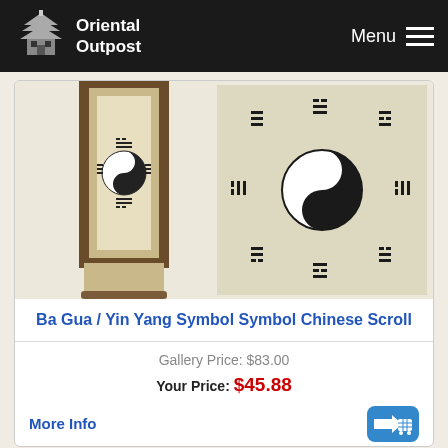Oriental Outpost — Menu
[Figure (photo): Ba Gua Yin Yang Chinese scroll painting and close-up of the Ba Gua symbol on tan/beige background]
Ba Gua / Yin Yang Symbol Symbol Chinese Scroll
Gallery Price: $83.00
Your Price: $45.88
More Info
[Figure (photo): Another Chinese scroll product partially visible at bottom of page]